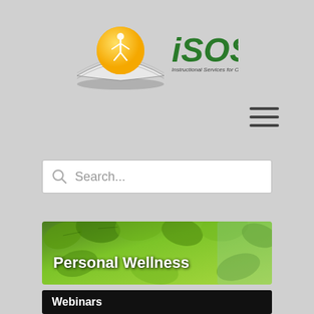[Figure (logo): iSOSY logo with orange circle, book, and green text reading 'iSOSY — Instructional Services for Out-of-School and Secondary Youth']
[Figure (other): Hamburger menu icon (three horizontal lines)]
[Figure (other): Search input box with magnifying glass icon and placeholder text 'Search...']
[Figure (photo): Green leaves photo banner with text 'Personal Wellness']
Webinars